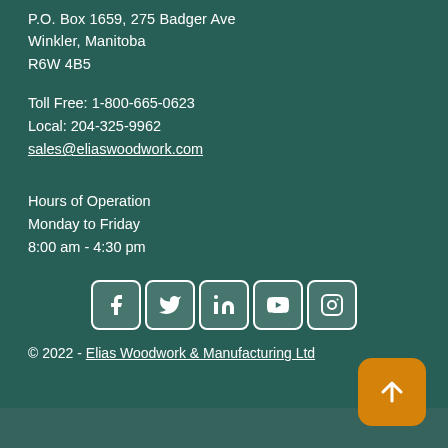P.O. Box 1659, 275 Badger Ave
Winkler, Manitoba
R6W 4B5
Toll Free: 1-800-665-0623
Local: 204-325-9962
sales@eliaswoodwork.com
Hours of Operation
Monday to Friday
8:00 am - 4:30 pm
[Figure (infographic): Row of five social media icons: Facebook, Twitter, LinkedIn, YouTube, Instagram]
© 2022 - Elias Woodwork & Manufacturing Ltd